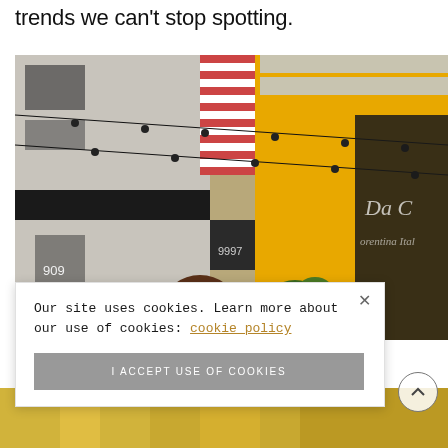trends we can't stop spotting.
[Figure (photo): Street scene with yellow building facade and a restaurant called 'Da C...' (possibly Da Claudio or similar Italian restaurant), string lights hanging overhead, person with dark hair in foreground, plants and storefront windows visible.]
Our site uses cookies. Learn more about our use of cookies: cookie policy
I ACCEPT USE OF COOKIES
[Figure (photo): Bottom strip of another street/outdoor photo, predominantly yellow tones.]